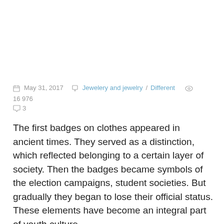May 31, 2017   Jewelery and jewelry / Different   16 976   3
The first badges on clothes appeared in ancient times. They served as a distinction, which reflected belonging to a certain layer of society. Then the badges became symbols of the election campaigns, student societies. But gradually they began to lose their official status. These elements have become an integral part of youth culture.
Today, badges are placed on jackets, jeans and other things. Moreover, they look differently - either creating a romantic, then strict, or rebellious image. Therefore, I propose to make an icon out of a plastic container with my